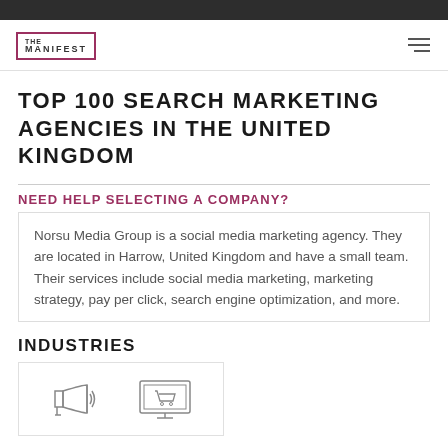[Figure (logo): The Manifest logo: square border with 'THE MANIFEST' text inside]
TOP 100 SEARCH MARKETING AGENCIES IN THE UNITED KINGDOM
NEED HELP SELECTING A COMPANY?
Norsu Media Group is a social media marketing agency. They are located in Harrow, United Kingdom and have a small team. Their services include social media marketing, marketing strategy, pay per click, search engine optimization, and more.
INDUSTRIES
[Figure (illustration): Two industry icons: megaphone/advertising icon and e-commerce shopping cart monitor icon]
NOTABLE PROJECT